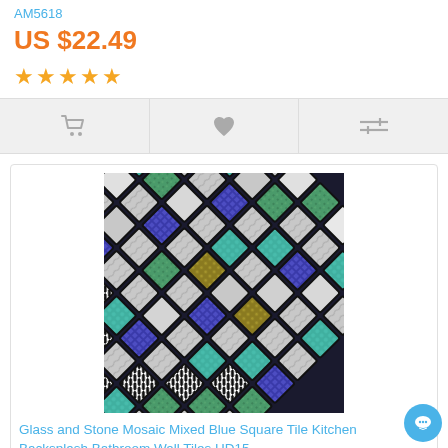AM5618
US $22.49
★★★★★
[Figure (screenshot): Action bar with cart, wishlist, and compare icons on gray background]
[Figure (photo): Close-up photo of glass and stone mosaic tiles in mixed blue, black, white, and green colors arranged diagonally]
Glass and Stone Mosaic Mixed Blue Square Tile Kitchen Backsplash Bathroom Wall Tiles HD15